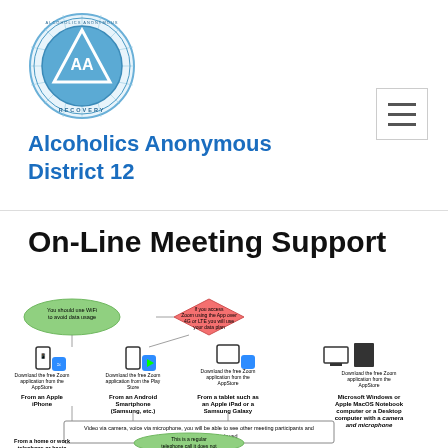[Figure (logo): Alcoholics Anonymous circular logo with triangle, 'AA' letters, and 'RECOVERY' text around the border, in blue and silver tones]
Alcoholics Anonymous District 12
On-Line Meeting Support
[Figure (infographic): Flowchart infographic showing how to access Zoom meetings from different devices: Apple iPhone (download from AppStore), Android Smartphone (download from Play Store), Apple iPad or Samsung Galaxy tablet (download from AppStore), and Microsoft Windows or Apple MacOS Notebook/Desktop computer with camera and microphone. Green oval says 'You should use WiFi to avoid data usage'. Red diamond says 'If you access Zoom using the App over 4G or LTE you will use your data plan'. Bottom text: 'Video via camera, voice via microphone, you will be able to see other meeting participants and any documents being displayed'. Bottom left: 'From a home or work telephone or basic cell phone'. Green oval at bottom: 'This is a regular telephone call it does not...']